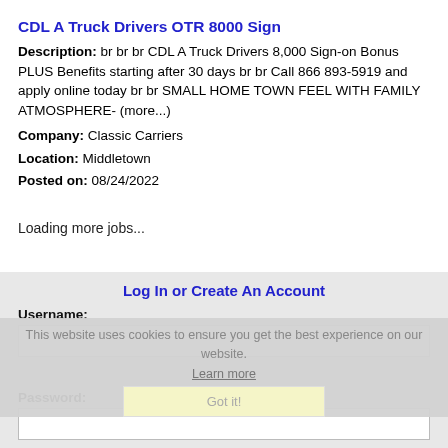CDL A Truck Drivers OTR 8000 Sign
Description: br br br CDL A Truck Drivers 8,000 Sign-on Bonus PLUS Benefits starting after 30 days br br Call 866 893-5919 and apply online today br br SMALL HOME TOWN FEEL WITH FAMILY ATMOSPHERE- (more...)
Company: Classic Carriers
Location: Middletown
Posted on: 08/24/2022
Loading more jobs...
Log In or Create An Account
This website uses cookies to ensure you get the best experience on our website.
Learn more
Username:
Got it!
Password: